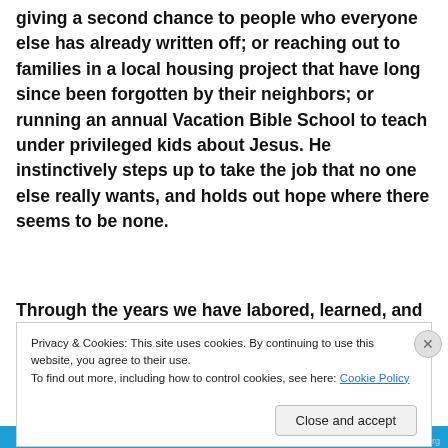giving a second chance to people who everyone else has already written off; or reaching out to families in a local housing project that have long since been forgotten by their neighbors; or running an annual Vacation Bible School to teach under privileged kids about Jesus. He instinctively steps up to take the job that no one else really wants, and holds out hope where there seems to be none.
Through the years we have labored, learned, and
Privacy & Cookies: This site uses cookies. By continuing to use this website, you agree to their use.
To find out more, including how to control cookies, see here: Cookie Policy
Close and accept